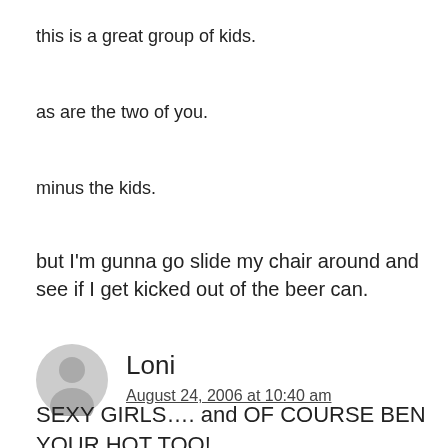this is a great group of kids.
as are the two of you.
minus the kids.
but I'm gunna go slide my chair around and see if I get kicked out of the beer can.
Loni
August 24, 2006 at 10:40 am
SEXY GIRLS…. and OF COURSE BEN YOUR HOT TOO!